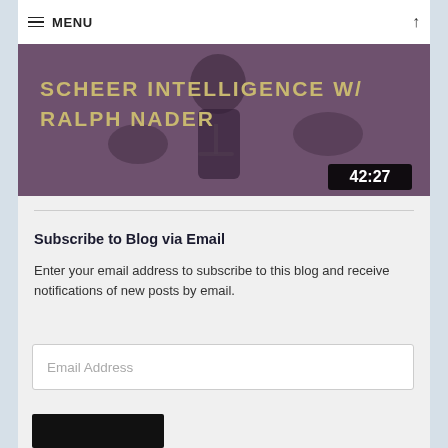MENU
[Figure (screenshot): Video thumbnail showing 'Scheer Intelligence w/ Ralph Nader' with duration 42:27, purple-tinted image of a man speaking at a microphone]
Subscribe to Blog via Email
Enter your email address to subscribe to this blog and receive notifications of new posts by email.
Email Address